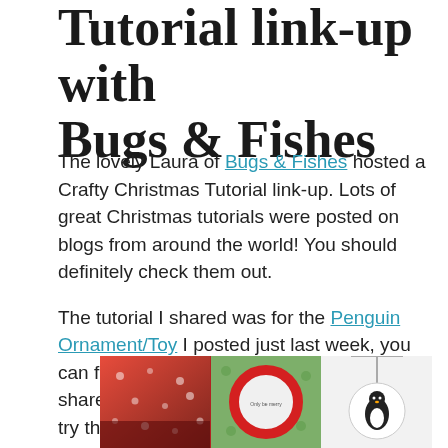Tutorial link-up with Bugs & Fishes
The lovely Laura of Bugs & Fishes hosted a Crafty Christmas Tutorial link-up. Lots of great Christmas tutorials were posted on blogs from around the world! You should definitely check them out.
The tutorial I shared was for the Penguin Ornament/Toy I posted just last week, you can find the rest of tutorials that were shared below each collage. I can't wait to try these out!
[Figure (photo): Three Christmas craft photos in a row: a red polka-dot item, a circular red and green ornament on green background, and a penguin ornament/pendant on white background.]